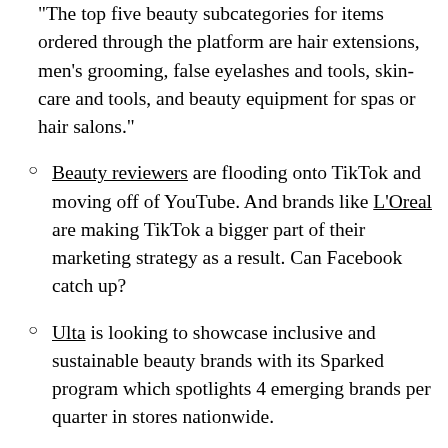“The top five beauty subcategories for items ordered through the platform are hair extensions, men’s grooming, false eyelashes and tools, skin-care and tools, and beauty equipment for spas or hair salons.”
Beauty reviewers are flooding onto TikTok and moving off of YouTube. And brands like L’Oreal are making TikTok a bigger part of their marketing strategy as a result. Can Facebook catch up?
Ulta is looking to showcase inclusive and sustainable beauty brands with its Sparked program which spotlights 4 emerging brands per quarter in stores nationwide.